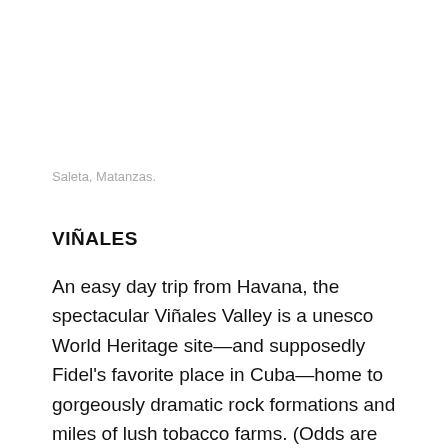Saleta, Matanzas.
VIÑALES
An easy day trip from Havana, the spectacular Viñales Valley is a unesco World Heritage site—and supposedly Fidel's favorite place in Cuba—home to gorgeously dramatic rock formations and miles of lush tobacco farms. (Odds are good that the Montecristo you'll puff after dinner started life here.) Explore the valley on horseback with a guided trip through the mogotes, the distinctive limestone hills that dot the prehistoric-looking landscape, then climb to